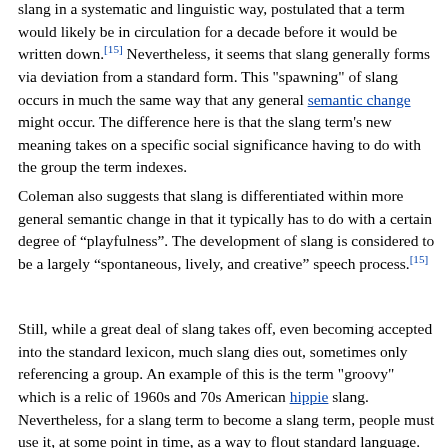slang in a systematic and linguistic way, postulated that a term would likely be in circulation for a decade before it would be written down.[15] Nevertheless, it seems that slang generally forms via deviation from a standard form. This "spawning" of slang occurs in much the same way that any general semantic change might occur. The difference here is that the slang term's new meaning takes on a specific social significance having to do with the group the term indexes.
Coleman also suggests that slang is differentiated within more general semantic change in that it typically has to do with a certain degree of “playfulness”. The development of slang is considered to be a largely “spontaneous, lively, and creative” speech process.[15]
Still, while a great deal of slang takes off, even becoming accepted into the standard lexicon, much slang dies out, sometimes only referencing a group. An example of this is the term "groovy" which is a relic of 1960s and 70s American hippie slang. Nevertheless, for a slang term to become a slang term, people must use it, at some point in time, as a way to flout standard language.[12] Additionally, slang terms may be borrowed between groups, such as the term "gig" which was originally coined by jazz musicians in the 1930s and then borrowed into the same hippie slang of the 1960s.[12] The word "groovy" has remained a part of subculture lexicon since its popularization. It is still in common use today by